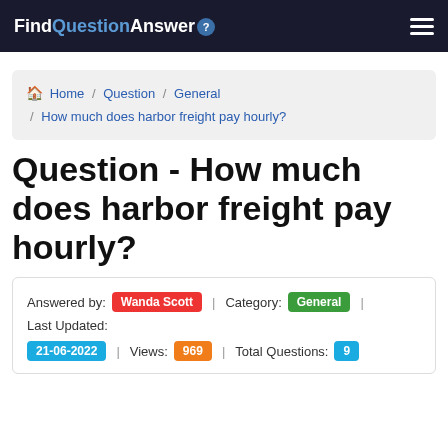FindQuestionAnswer
Home / Question / General / How much does harbor freight pay hourly?
Question - How much does harbor freight pay hourly?
Answered by: Wanda Scott | Category: General | Last Updated: 21-06-2022 | Views: 969 | Total Questions: 9